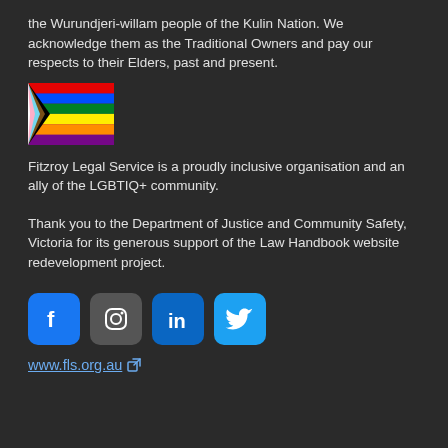the Wurundjeri-willam people of the Kulin Nation. We acknowledge them as the Traditional Owners and pay our respects to their Elders, past and present.
[Figure (illustration): Progress Pride flag (rainbow with black and brown stripes and pink/white/blue chevron)]
Fitzroy Legal Service is a proudly inclusive organisation and an ally of the LGBTIQ+ community.
Thank you to the Department of Justice and Community Safety, Victoria for its generous support of the Law Handbook website redevelopment project.
[Figure (other): Social media icons row: Facebook, Instagram, LinkedIn, Twitter]
www.fls.org.au